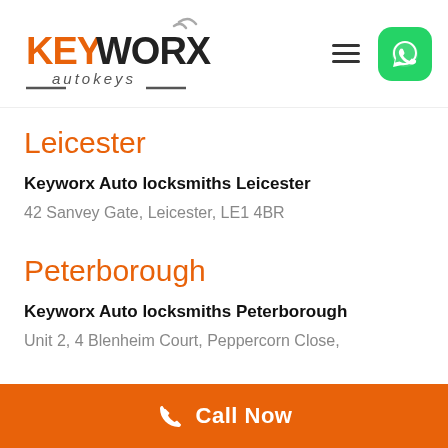[Figure (logo): Keyworx Autokeys logo with orange and dark text and signal waves]
[Figure (logo): WhatsApp green rounded square icon]
Leicester
Keyworx Auto locksmiths Leicester
42 Sanvey Gate, Leicester, LE1 4BR
Peterborough
Keyworx Auto locksmiths Peterborough
Unit 2, 4 Blenheim Court, Peppercorn Close,
Call Now